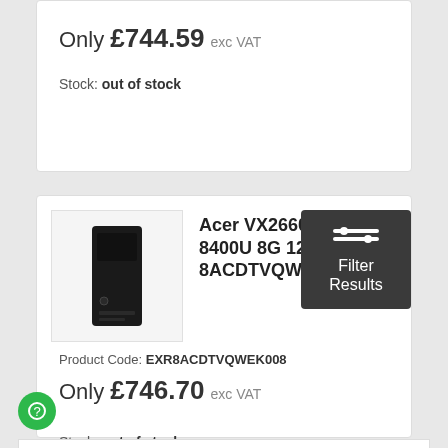Only £744.59 exc VAT
Stock: out of stock
Acer VX2660G Core i5 8400U 8G 128GB SSD 8ACDTVQWEK008
Product Code: EXR8ACDTVQWEK008
Only £746.70 exc VAT
Stock: out of stock